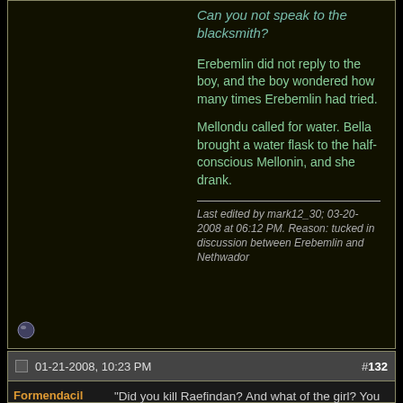Can you not speak to the blacksmith?
Erebemlin did not reply to the boy, and the boy wondered how many times Erebemlin had tried.
Mellondu called for water. Bella brought a water flask to the half-conscious Mellonin, and she drank.
Last edited by mark12_30; 03-20-2008 at 06:12 PM. Reason: tucked in discussion between Erebemlin and Nethwador
01-21-2008, 10:23 PM  #132
Formendacil
Dead Serious
“Did you kill Raefindan? And what of the girl? You have tracked her and her captor? How far are they?”
As Ravion turned to Bergil,